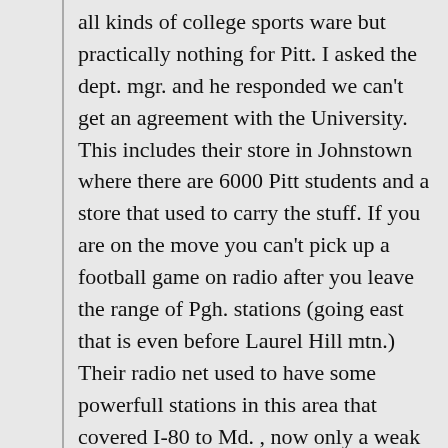all kinds of college sports ware but practically nothing for Pitt. I asked the dept. mgr. and he responded we can't get an agreement with the University. This includes their store in Johnstown where there are 6000 Pitt students and a store that used to carry the stuff. If you are on the move you can't pick up a football game on radio after you leave the range of Pgh. stations (going east that is even before Laurel Hill mtn.) Their radio net used to have some powerfull stations in this area that covered I-80 to Md. , now only a weak am station that cuts its power by regulation about 3 pm during the second half of the season. Where is the coaches show etc. I do have to give a shout out to their staff in the ticket office. Had nothing but the finest experiences with them forever. Hopefully